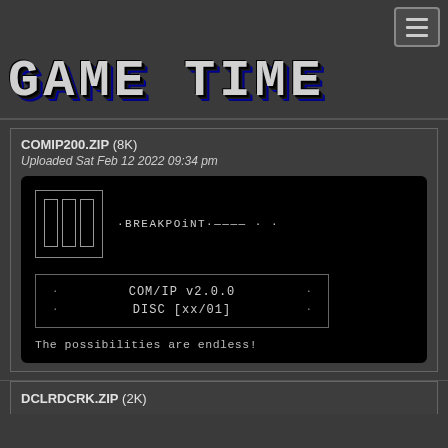GAME TIME
COMIP200.ZIP (8K)
Uploaded Sat Feb 12 2022 09:34 pm
[Figure (screenshot): Preview image of COMIP200.ZIP showing BPK logo with bars, text 'BREAKPOiNT', a disc box with 'COM/IP v2.0.0' and 'DISC [xx/01]', and tagline 'The possibilities are endless!']
DCLRDCRK.ZIP (2K)